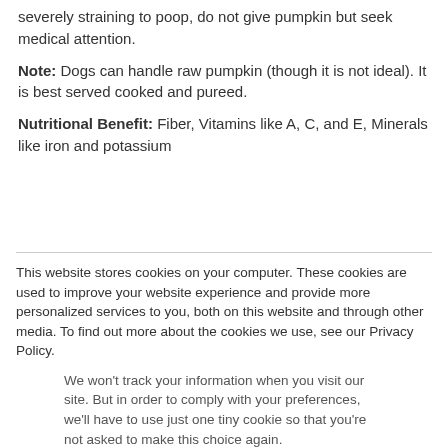severely straining to poop, do not give pumpkin but seek medical attention.
Note: Dogs can handle raw pumpkin (though it is not ideal). It is best served cooked and pureed.
Nutritional Benefit: Fiber, Vitamins like A, C, and E, Minerals like iron and potassium
This website stores cookies on your computer. These cookies are used to improve your website experience and provide more personalized services to you, both on this website and through other media. To find out more about the cookies we use, see our Privacy Policy.
We won't track your information when you visit our site. But in order to comply with your preferences, we'll have to use just one tiny cookie so that you're not asked to make this choice again.
Accept
Decline